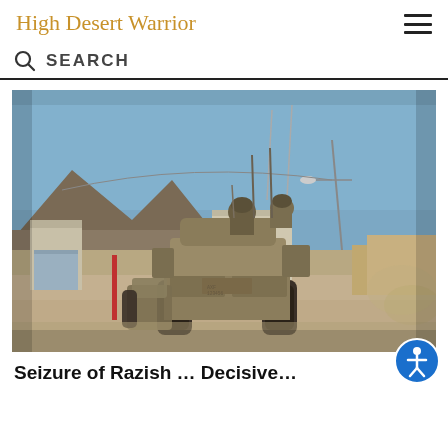High Desert Warrior
SEARCH
[Figure (photo): Military Bradley fighting vehicles with soldiers on top driving through a desert combat training area, mountains and buildings visible in background, dust in the air]
Seizure of Razish ... Decisive...